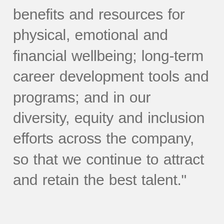benefits and resources for physical, emotional and financial wellbeing; long-term career development tools and programs; and in our diversity, equity and inclusion efforts across the company, so that we continue to attract and retain the best talent."